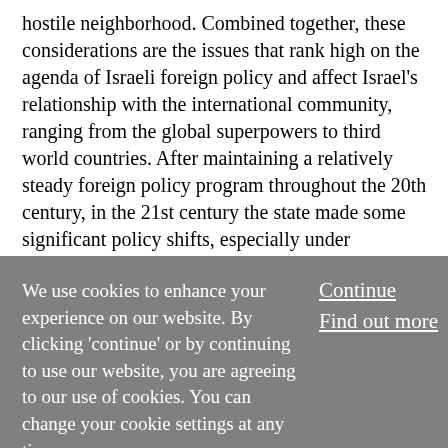hostile neighborhood. Combined together, these considerations are the issues that rank high on the agenda of Israeli foreign policy and affect Israel's relationship with the international community, ranging from the global superpowers to third world countries. After maintaining a relatively steady foreign policy program throughout the 20th century, in the 21st century the state made some significant policy shifts, especially under Benjamin Netanyahu's consecutive governments. These included a halt in Israeli–Palestinian negotiations for peace; a high-profile campaign against Iran's nuclear weapons program; more emphasis on the maritime domain; and strengthening ties with illiberal leaders around the world. In 2021, the
We use cookies to enhance your experience on our website. By clicking 'continue' or by continuing to use our website, you are agreeing to our use of cookies. You can change your cookie settings at any time.
Continue
Find out more